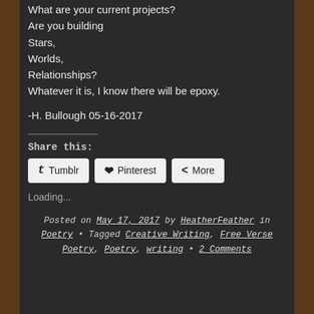What are your current projects?
Are you building
Stars,
Worlds,
Relationships?
Whatever it is, I know there will be epoxy.
-H. Bullough 05-16-2017
Share this:
Tumblr  Pinterest  More
Loading...
Posted on May 17, 2017 by HeatherFeather in Poetry • Tagged Creative Writing, Free Verse Poetry, Poetry, writing • 2 Comments